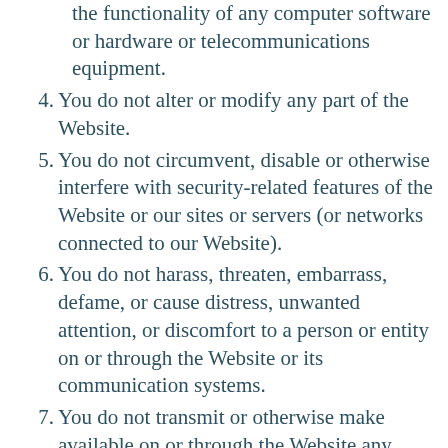the functionality of any computer software or hardware or telecommunications equipment.
4. You do not alter or modify any part of the Website.
5. You do not circumvent, disable or otherwise interfere with security-related features of the Website or our sites or servers (or networks connected to our Website).
6. You do not harass, threaten, embarrass, defame, or cause distress, unwanted attention, or discomfort to a person or entity on or through the Website or its communication systems.
7. You do not transmit or otherwise make available on or through the Website any content that is unlawful, harmful, threatening, abusive, harassing, defamatory, vulgar, obscene, hateful, discriminatory, or racially, ethnically, or otherwise objectionable, as solely determined by Motion Picture Costumers.
8. This list of permissions and restrictions, along with